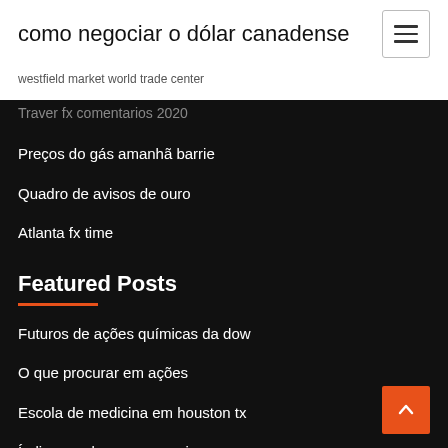como negociar o dólar canadense
westfield market world trade center
Traver fx comentarios 2020
Preços do gás amanhã barrie
Quadro de avisos de ouro
Atlanta fx time
Featured Posts
Futuros de ações químicas da dow
O que procurar em ações
Escola de medicina em houston tx
Índice nasdaq preço ao vivo